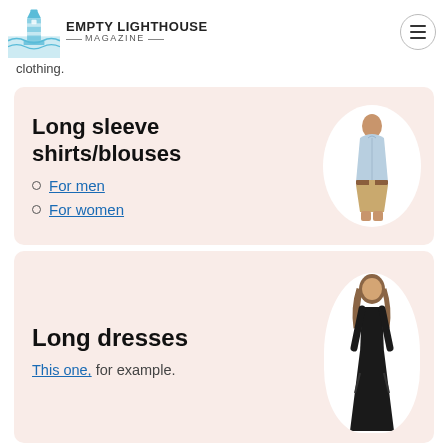EMPTY LIGHTHOUSE MAGAZINE
clothing.
Long sleeve shirts/blouses
For men
For women
[Figure (illustration): Man in light blue long-sleeve shirt and khaki shorts, shown in oval white background]
Long dresses
This one, for example.
[Figure (illustration): Woman in black long dress with necklace, shown in oval white background]